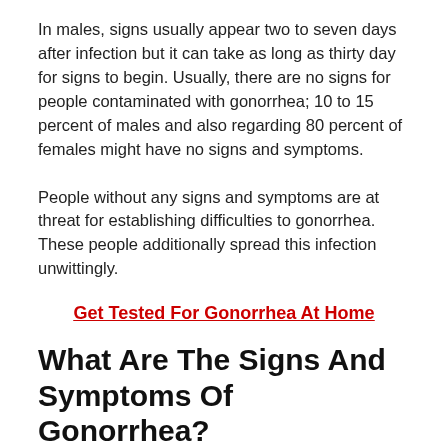In males, signs usually appear two to seven days after infection but it can take as long as thirty day for signs to begin. Usually, there are no signs for people contaminated with gonorrhea; 10 to 15 percent of males and also regarding 80 percent of females might have no signs and symptoms.
People without any signs and symptoms are at threat for establishing difficulties to gonorrhea. These people additionally spread this infection unwittingly.
Get Tested For Gonorrhea At Home
What Are The Signs And Symptoms Of Gonorrhea?